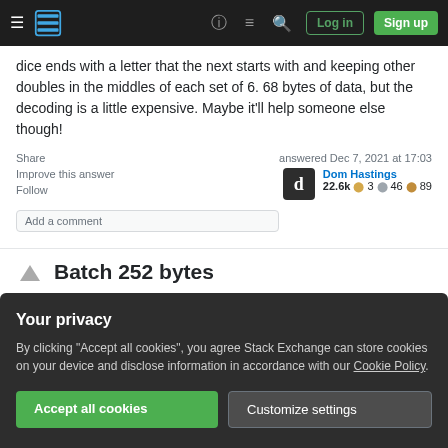Stack Exchange navigation bar with Log in and Sign up buttons
dice ends with a letter that the next starts with and keeping other doubles in the middles of each set of 6. 68 bytes of data, but the decoding is a little expensive. Maybe it'll help someone else though!
Share
Improve this answer
Follow
answered Dec 7, 2021 at 17:03
Dom Hastings
22.6k 3 46 89
Add a comment
Batch 252 bytes
Your privacy
By clicking "Accept all cookies", you agree Stack Exchange can store cookies on your device and disclose information in accordance with our Cookie Policy.
Accept all cookies   Customize settings